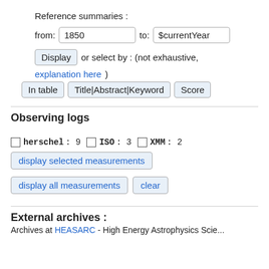Reference summaries :
from: 1850  to: $currentYear
Display or select by : (not exhaustive, explanation here) In table  Title|Abstract|Keyword  Score
Observing logs
☐ herschel : 9   ☐ ISO : 3   ☐ XMM : 2
display selected measurements
display all measurements   clear
External archives :
Archives at HEASARC - High Energy Astrophysics Science ...